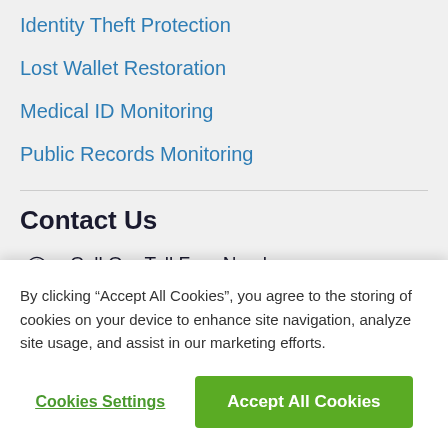Identity Theft Protection
Lost Wallet Restoration
Medical ID Monitoring
Public Records Monitoring
Contact Us
Call Our Toll Free Number:
(800) 470-7489
Email Our Support:
By clicking “Accept All Cookies”, you agree to the storing of cookies on your device to enhance site navigation, analyze site usage, and assist in our marketing efforts.
Cookies Settings
Accept All Cookies